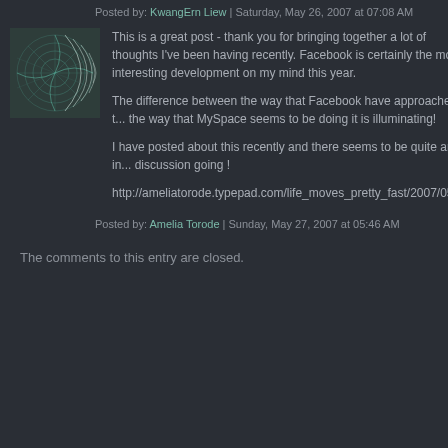Posted by: KwangErn Liew | Saturday, May 26, 2007 at 07:08 AM
[Figure (illustration): Small square avatar with teal/green geometric spiral pattern on dark background]
This is a great post - thank you for bringing together a lot of thoughts I've been having recently. Facebook is certainly the most interesting development on my mind this year.

The difference between the way that Facebook have approached t... the way that MySpace seems to be doing it is illuminating!

I have posted about this recently and there seems to be quite an in... discussion going !

http://ameliatorode.typepad.com/life_moves_pretty_fast/2007/05/o...
Posted by: Amelia Torode | Sunday, May 27, 2007 at 05:46 AM
The comments to this entry are closed.